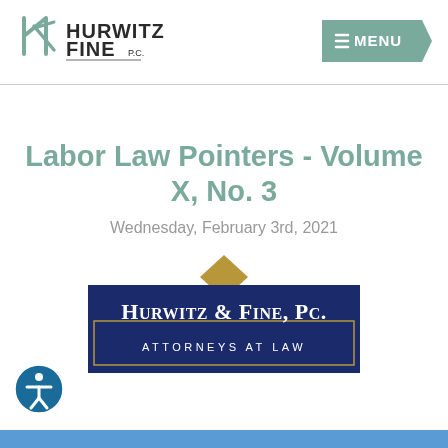[Figure (logo): Hurwitz Fine PC logo with stylized HF monogram in teal/green and text HURWITZ FINE P.C.]
[Figure (logo): Menu button in sage green with hamburger icon and MENU text]
Labor Law Pointers - Volume X, No. 3
Wednesday, February 3rd, 2021
[Figure (logo): Hurwitz & Fine, P.C. Attorneys at Law logo on navy blue background with gold diamond accent]
[Figure (logo): Accessibility icon - person in circle]